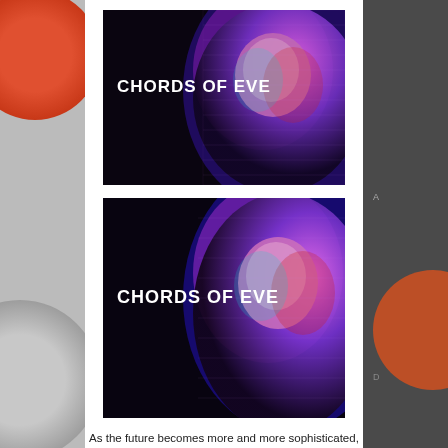[Figure (photo): Screenshot of a music/movie promotional image titled 'CHORDS OF EVE' showing a woman with long hair lit in blue and magenta/pink tones against a dark background. The text 'CHORDS OF EVE' appears in bold white uppercase letters on the left side. Two versions of the image are stacked vertically.]
As the future becomes more and more sophisticated,